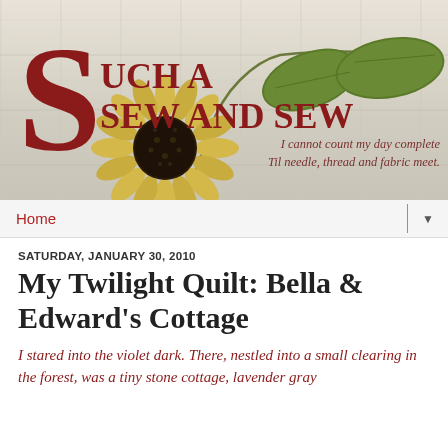[Figure (illustration): Blog header banner for 'Such A Sew And Sew' with a large decorative red S, blog title text in dark red uppercase serif font, a sunflower with green leaves on a whitewashed wooden plank background, and italic tagline text reading 'I cannot count my day complete / Til needle, thread and fabric meet.']
Home ▼
SATURDAY, JANUARY 30, 2010
My Twilight Quilt: Bella & Edward's Cottage
I stared into the violet dark. There, nestled into a small clearing in the forest, was a tiny stone cottage, lavender gray